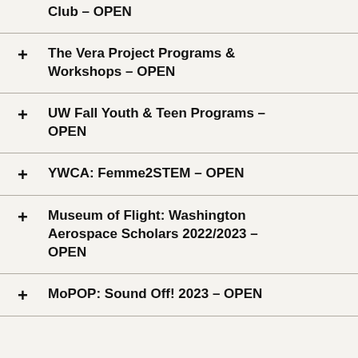Club – OPEN
The Vera Project Programs & Workshops – OPEN
UW Fall Youth & Teen Programs – OPEN
YWCA: Femme2STEM – OPEN
Museum of Flight: Washington Aerospace Scholars 2022/2023 – OPEN
MoPOP: Sound Off! 2023 – OPEN